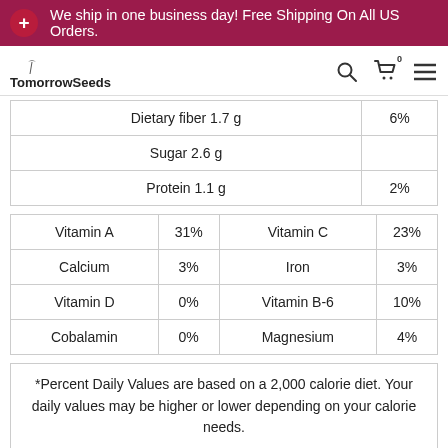We ship in one business day! Free Shipping On All US Orders.
[Figure (logo): TomorrowSeeds logo with navigation icons (search, cart, menu)]
| Nutrient | % Daily Value |
| --- | --- |
| Dietary fiber 1.7 g | 6% |
| Sugar 2.6 g |  |
| Protein 1.1 g | 2% |
| Nutrient | % | Nutrient | % |
| --- | --- | --- | --- |
| Vitamin A | 31% | Vitamin C | 23% |
| Calcium | 3% | Iron | 3% |
| Vitamin D | 0% | Vitamin B-6 | 10% |
| Cobalamin | 0% | Magnesium | 4% |
*Percent Daily Values are based on a 2,000 calorie diet. Your daily values may be higher or lower depending on your calorie needs.